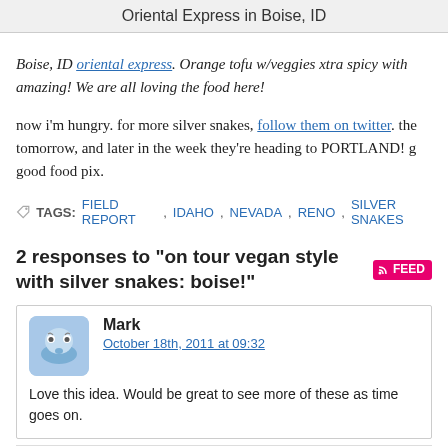Oriental Express in Boise, ID
Boise, ID oriental express. Orange tofu w/veggies xtra spicy with amazing! We are all loving the food here!
now i'm hungry. for more silver snakes, follow them on twitter. the tomorrow, and later in the week they're heading to PORTLAND! g good food pix.
TAGS: FIELD REPORT, IDAHO, NEVADA, RENO, SILVER SNAKES
2 responses to "on tour vegan style with silver snakes: boise!"
Mark
October 18th, 2011 at 09:32
Love this idea. Would be great to see more of these as time goes on.